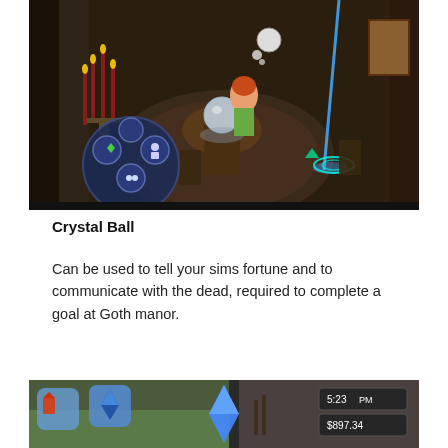[Figure (screenshot): Screenshot from The Sims game showing a character sitting at a crystal ball table in a dark room with candles, chairs, and a rug. A blue beam of light is visible on the right side. A circular interaction menu is shown in the lower left corner.]
Crystal Ball
Can be used to tell your sims fortune and to communicate with the dead, required to complete a goal at Goth manor.
[Figure (screenshot): Partial screenshot from The Sims game showing a blue diamond plumb-bob icon, what appears to be furniture items, and a HUD with time reading 5:23 PM and money $897.34.]